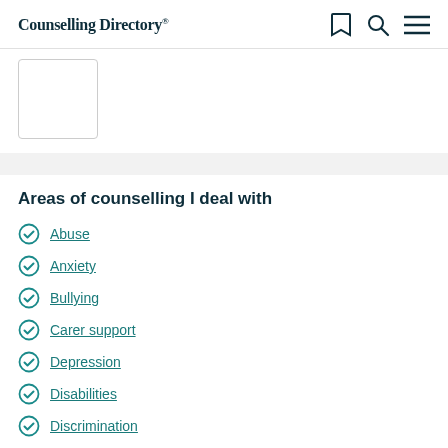Counselling Directory®
[Figure (illustration): Profile photo placeholder box, white rectangle with border]
Areas of counselling I deal with
Abuse
Anxiety
Bullying
Carer support
Depression
Disabilities
Discrimination